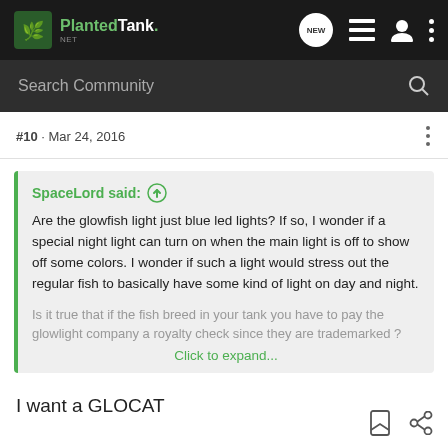[Figure (screenshot): PlantedTank website header with logo, NEW badge, list icon, user icon, and vertical dots menu]
[Figure (screenshot): Dark search bar with 'Search Community' placeholder text and magnifying glass icon]
#10 · Mar 24, 2016
SpaceLord said: ↑
Are the glowfish light just blue led lights? If so, I wonder if a special night light can turn on when the main light is off to show off some colors. I wonder if such a light would stress out the regular fish to basically have some kind of light on day and night.

Is it true that if the fish breed in your tank you have to pay the glowlight company a royalty check since they are trademarked ?
Click to expand...
I want a GLOCAT